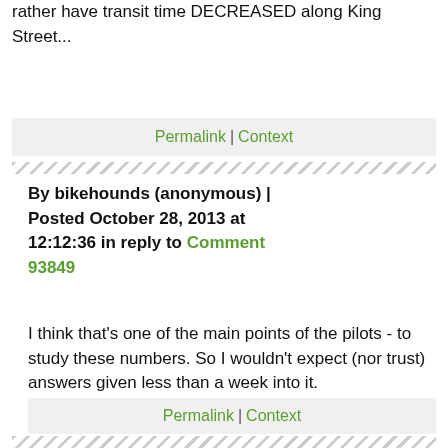rather have transit time DECREASED along King Street...
Permalink | Context
By bikehounds (anonymous) | Posted October 28, 2013 at 12:12:36 in reply to Comment 93849
I think that's one of the main points of the pilots - to study these numbers. So I wouldn't expect (nor trust) answers given less than a week into it.
Permalink | Context